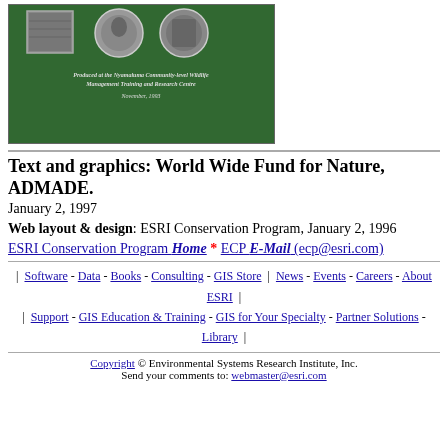[Figure (photo): Green book cover with logos and text: 'Produced at the Nyamaluma Community-level Wildlife Management Training and Research Centre, November, 1993']
Text and graphics: World Wide Fund for Nature, ADMADE.
January 2, 1997
Web layout & design: ESRI Conservation Program, January 2, 1996
ESRI Conservation Program Home * ECP E-Mail (ecp@esri.com)
| Software - Data - Books - Consulting - GIS Store | News - Events - Careers - About ESRI |
| Support - GIS Education & Training - GIS for Your Specialty - Partner Solutions - Library |
Copyright © Environmental Systems Research Institute, Inc.
Send your comments to: webmaster@esri.com